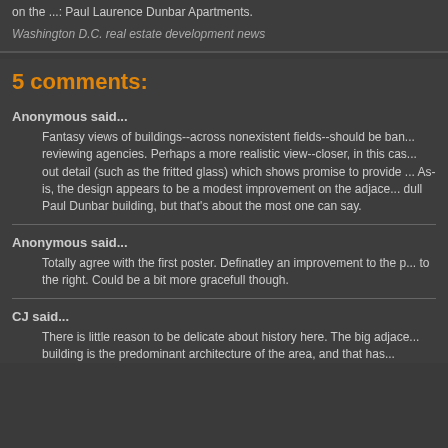on the ... Paul Laurence Dunbar Apartments.
Washington D.C. real estate development news
5 comments:
Anonymous said...
Fantasy views of buildings--across nonexistent fields--should be banned by reviewing agencies. Perhaps a more realistic view--closer, in this case, to bring out detail (such as the fritted glass) which shows promise to provide ... As-is, the design appears to be a modest improvement on the adjacent dull Paul Dunbar building, but that's about the most one can say.
Anonymous said...
Totally agree with the first poster. Definatley an improvement to the p... to the right. Could be a bit more gracefull though.
CJ said...
There is little reason to be delicate about history here. The big adjacent building is the predominant architecture of the area, and that has...